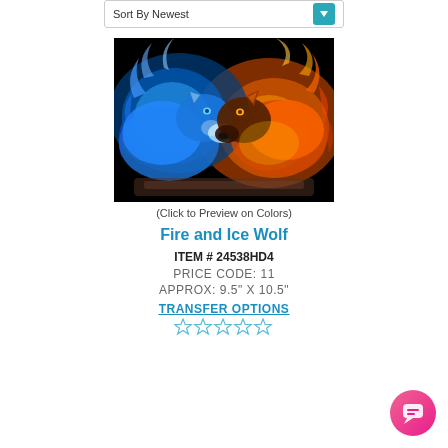Sort By Newest
[Figure (illustration): Painting of two wolves facing each other — one made of blue ice/fire on the left, and one made of orange/red fire on the right, against a black background.]
(Click to Preview on Colors)
Fire and Ice Wolf
ITEM # 24538HD4
PRICE CODE: 11
APPROX: 9.5" X 10.5"
TRANSFER OPTIONS
[Figure (other): Five empty star rating icons in teal/blue outline]